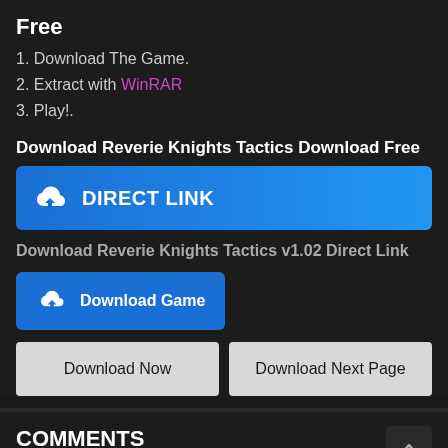Free
1. Download The Game.
2. Extract with WinRAR
3. Play!.
Download Reverie Knights Tactics Download Free
[Figure (other): Blue Direct Link download button with cloud icon]
Download Reverie Knights Tactics v1.02 Direct Link
[Figure (other): Blue Download Game button with cloud icon]
Download Now   Download Next Page
COMMENTS